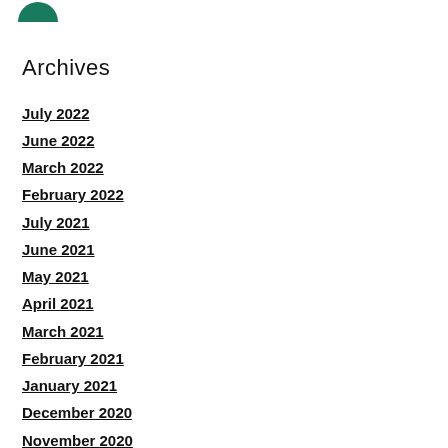[Figure (logo): Partial green circular logo at top left]
Archives
July 2022
June 2022
March 2022
February 2022
July 2021
June 2021
May 2021
April 2021
March 2021
February 2021
January 2021
December 2020
November 2020
October 2020
September 2020